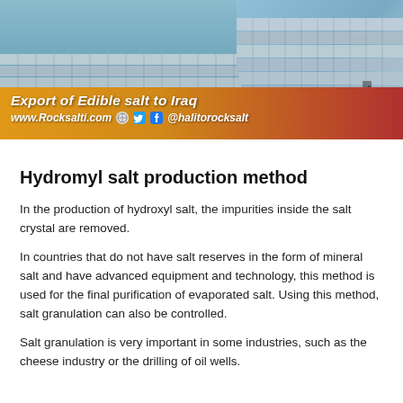[Figure (photo): Banner image showing stacked salt bags in a warehouse, with yellow/red gradient overlay. Text reads 'Export of Edible salt to Iraq', 'www.Rocksalti.com' and '@halitorocksalt' with social media icons.]
Hydromyl salt production method
In the production of hydroxyl salt, the impurities inside the salt crystal are removed.
In countries that do not have salt reserves in the form of mineral salt and have advanced equipment and technology, this method is used for the final purification of evaporated salt. Using this method, salt granulation can also be controlled.
Salt granulation is very important in some industries, such as the cheese industry or the drilling of oil wells.